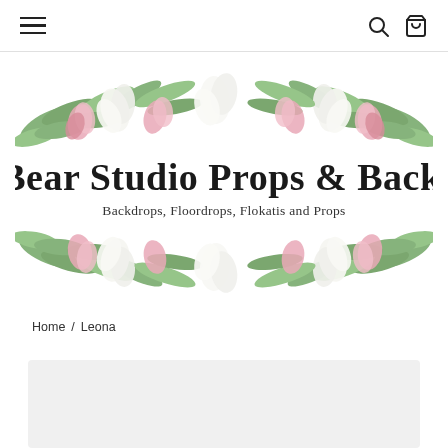Navigation header with hamburger menu, search icon, and cart icon
[Figure (logo): Lilly Bear Studio Props & Backdrops logo with watercolor floral arrangement of lilies and green leaves above and below the text. Main text: Lilly Bear Studio Props & Backdrops. Subtitle: Backdrops, Floordrops, Flokatis and Props]
Home / Leona
[Figure (photo): Light grey product image placeholder area at the bottom of the page]